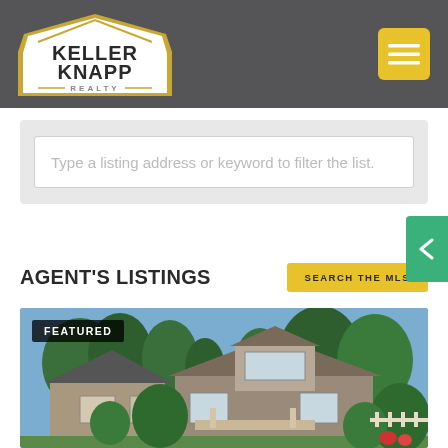[Figure (logo): Keller Knapp Realty logo — white badge shape with yellow border, bold text KELLER KNAPP and REALTY subtitle]
[Figure (infographic): Yellow square menu/hamburger button icon]
Type a listing address or keyword to filter the list.
AGENT'S LISTINGS
SEARCH THE MLS
[Figure (photo): Featured real estate listing photo showing two craftsman-style houses with trees in foreground, blue sky background. A black badge reads FEATURED.]